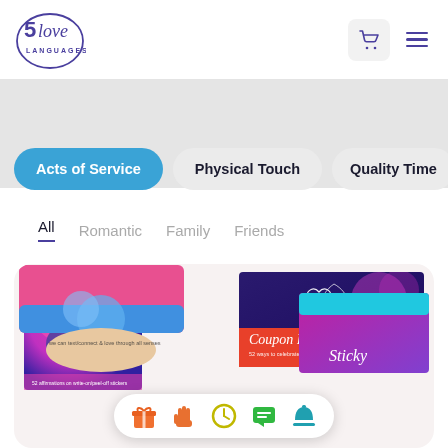[Figure (logo): 5 Love Languages logo with circular border and stylized text]
[Figure (screenshot): Website navigation screenshot showing Acts of Service (active blue pill), Physical Touch, Quality Time category pills, with All/Romantic/Family/Friends sub-tabs, and product card showing love notes books, coupon book, disc, and sticky notes]
[Figure (infographic): Floating bottom navigation bar with 5 icons: gift (orange), hand (orange), clock (yellow/green), chat (green), bell/service (teal)]